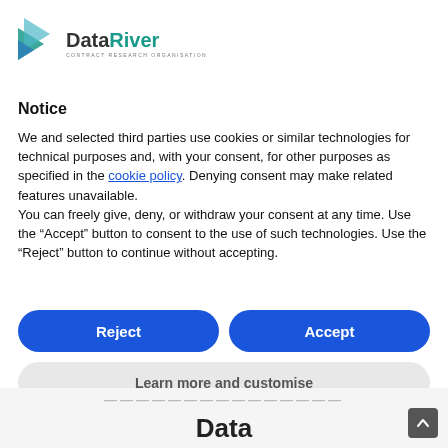[Figure (logo): DataRiver logo with teal geometric arrow icon and text 'DataRiver CONTRACT RESEARCH ORGANISATION']
Notice
We and selected third parties use cookies or similar technologies for technical purposes and, with your consent, for other purposes as specified in the cookie policy. Denying consent may make related features unavailable.
You can freely give, deny, or withdraw your consent at any time. Use the “Accept” button to consent to the use of such technologies. Use the “Reject” button to continue without accepting.
[Figure (screenshot): Two blue rounded buttons: 'Reject' on the left and 'Accept' on the right]
[Figure (screenshot): Gray rounded button labeled 'Learn more and customise']
Data